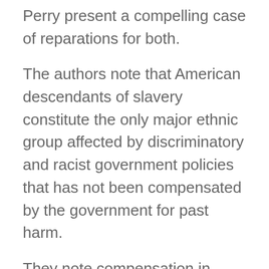Perry present a compelling case of reparations for both.
The authors note that American descendants of slavery constitute the only major ethnic group affected by discriminatory and racist government policies that has not been compensated by the government for past harm.
They note compensation in forms of land, cash or both awarded to Native Americans and to the